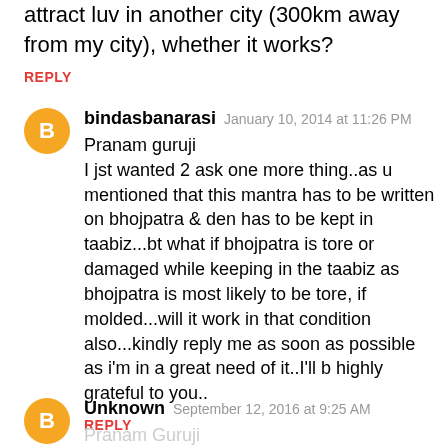attract luv in another city (300km away from my city), whether it works?
REPLY
bindasbanarasi  January 10, 2014 at 11:26 PM
Pranam guruji
I jst wanted 2 ask one more thing..as u mentioned that this mantra has to be written on bhojpatra & den has to be kept in taabiz...bt what if bhojpatra is tore or damaged while keeping in the taabiz as bhojpatra is most likely to be tore, if molded...will it work in that condition also...kindly reply me as soon as possible as i'm in a great need of it..I'll b highly grateful to you..
REPLY
Unknown  September 12, 2016 at 9:25 AM
Pranam Guruji